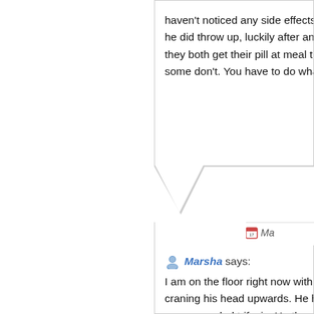haven't noticed any side effects. Once I gave he did throw up, luckily after an hour so I di they both get their pill at meal time. Just like some don't. You have to do what you feel is b
Ma
Marsha says: I am on the floor right now with my 2 1/2 ye craning his head upwards. He has a horrible recommended trifexis. He threw up every ti continue since he cannot take topicals. Last n hardly stand and, acted drunk like. Tonight a suddenly sat up on the bed, drunkenly walke closing his mouth, his eyes half open, swayin and took him outside where he sat and fell o and closing his mouth, his neck was craning was coming out. I brought him in the house